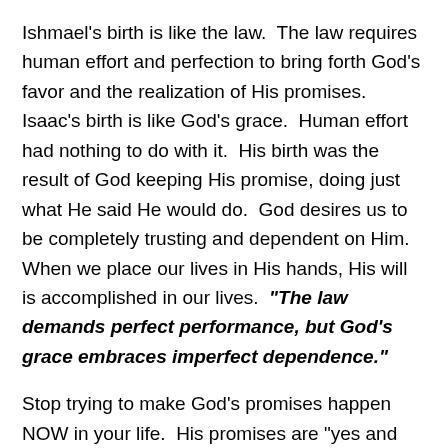Ishmael's birth is like the law.  The law requires human effort and perfection to bring forth God's favor and the realization of His promises.  Isaac's birth is like God's grace.  Human effort had nothing to do with it.  His birth was the result of God keeping His promise, doing just what He said He would do.  God desires us to be completely trusting and dependent on Him.  When we place our lives in His hands, His will is accomplished in our lives.  “The law demands perfect performance, but God’s grace embraces imperfect dependence.”
Stop trying to make God’s promises happen NOW in your life.  His promises are “yes and Amen.”  His promises are true.  God is not a man that He should lie.  If He said it, believe that it will come to pass…in His time.
Our human effort striving for the favor of God is what f...